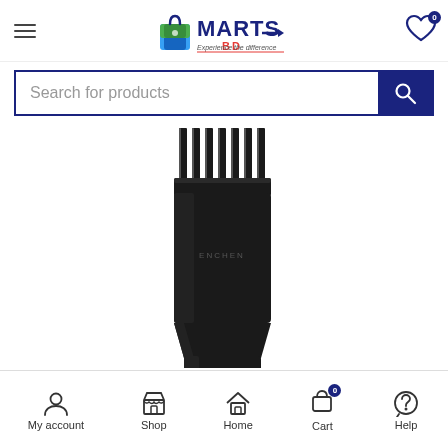MartsBD - Experience the difference
[Figure (screenshot): Search bar with 'Search for products' placeholder and dark blue search button with magnifying glass icon]
[Figure (photo): Black hair clipper / trimmer (ENCHEN brand) showing the top comb attachment with metal tines and the black body with a small button, photographed against white background]
My account | Shop | Home | Cart (0) | Help